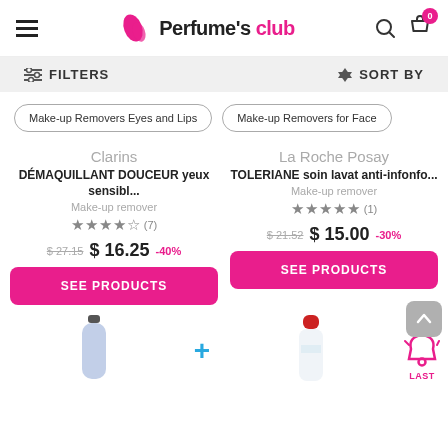Perfume's club — navigation header with hamburger menu, logo, search and cart icons (badge: 0)
FILTERS | SORT BY
Make-up Removers Eyes and Lips
Make-up Removers for Face
Clarins
DÉMAQUILLANT DOUCEUR yeux sensibl...
Make-up remover
★★★★½ (7)
$27.15  $16.25  -40%
SEE PRODUCTS
La Roche Posay
TOLERIANE soin lavat anti-infonfo...
Make-up remover
★★★★★ (1)
$21.52  $15.00  -30%
SEE PRODUCTS
[Figure (photo): Bottom section showing product images: a purple/blue Biotherm-like bottle on the left, a blue plus icon in the center, a red-capped Bioderma Sensibio bottle on the right, and a pink alarm/last badge icon on the far right]